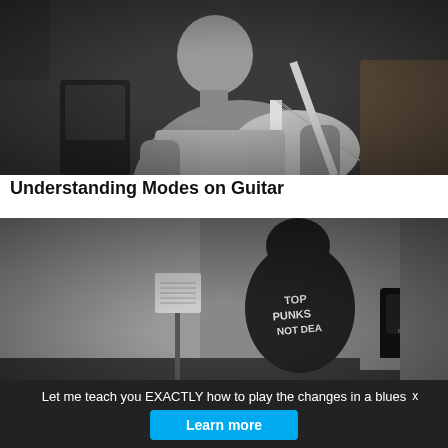[Figure (photo): Black and white photo of a middle-aged man playing a white Fender Stratocaster electric guitar in a studio setting]
Understanding Modes on Guitar
[Figure (photo): Black and white photo of a person seen from behind, wearing a t-shirt with 'TOP PUNKS NOT DEAD', sitting in front of a music stand with sheet music and a guitar amplifier]
An Alternative to the 5 Pentatonic Shapes
Let me teach you EXACTLY how to play the changes in a blues
Learn more